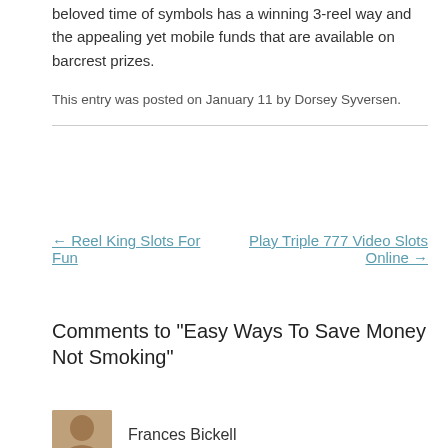beloved time of symbols has a winning 3-reel way and the appealing yet mobile funds that are available on barcrest prizes.
This entry was posted on January 11 by Dorsey Syversen.
← Reel King Slots For Fun
Play Triple 777 Video Slots Online →
Comments to "Easy Ways To Save Money Not Smoking"
Frances Bickell